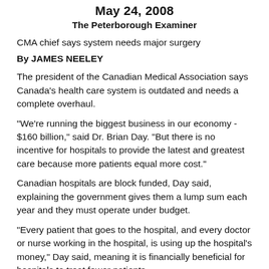May 24, 2008
The Peterborough Examiner
CMA chief says system needs major surgery
By JAMES NEELEY
The president of the Canadian Medical Association says Canada's health care system is outdated and needs a complete overhaul.
"We're running the biggest business in our economy - $160 billion," said Dr. Brian Day. "But there is no incentive for hospitals to provide the latest and greatest care because more patients equal more cost."
Canadian hospitals are block funded, Day said, explaining the government gives them a lump sum each year and they must operate under budget.
"Every patient that goes to the hospital, and every doctor or nurse working in the hospital, is using up the hospital's money," Day said, meaning it is financially beneficial for hospitals to treat fewer patients.
He calls this "rationing" of health care.
This is also contributing to pushing about 1,500 Canadian medical